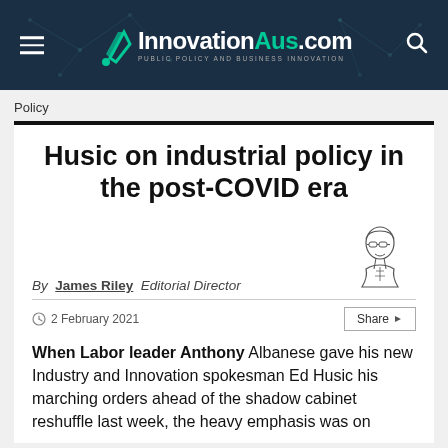InnovationAus.com — PUBLIC POLICY AND BUSINESS INNOVATION
Policy
Husic on industrial policy in the post-COVID era
By James Riley  Editorial Director
2 February 2021
When Labor leader Anthony Albanese gave his new Industry and Innovation spokesman Ed Husic his marching orders ahead of the shadow cabinet reshuffle last week, the heavy emphasis was on